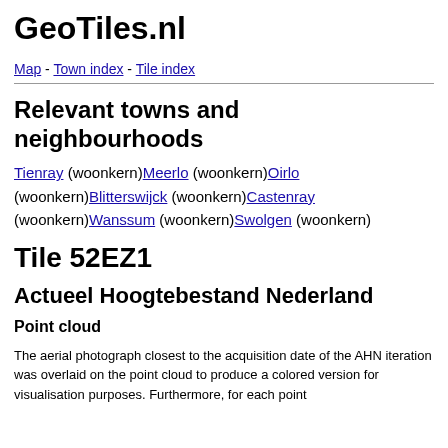GeoTiles.nl
Map - Town index - Tile index
Relevant towns and neighbourhoods
Tienray (woonkern)Meerlo (woonkern)Oirlo (woonkern)Blitterswijck (woonkern)Castenray (woonkern)Wanssum (woonkern)Swolgen (woonkern)
Tile 52EZ1
Actueel Hoogtebestand Nederland
Point cloud
The aerial photograph closest to the acquisition date of the AHN iteration was overlaid on the point cloud to produce a colored version for visualisation purposes. Furthermore, for each point